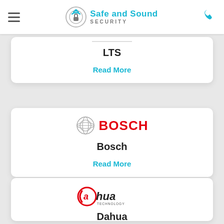Safe and Sound Security — navigation header
[Figure (logo): LTS brand card with 'LTS' title and Read More link (partial, top cut off)]
LTS
Read More
[Figure (logo): Bosch logo (globe icon + BOSCH red text)]
Bosch
Read More
[Figure (logo): Dahua Technology logo]
Dahua
Read More